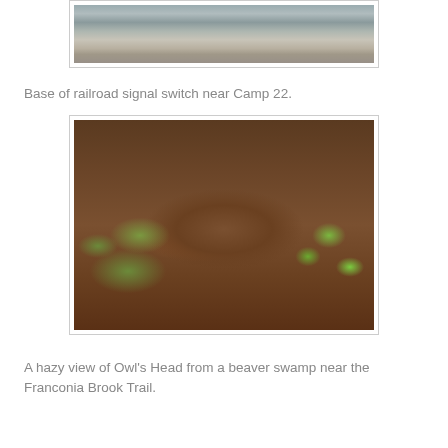[Figure (photo): Partial view of rocky stream or riverbed with stones and water, top portion of image cropped]
Base of railroad signal switch near Camp 22.
[Figure (photo): Metal railroad signal switch base lying on a forest floor covered with dead leaves, moss patches, and green plants]
A hazy view of Owl’s Head from a beaver swamp near the Franconia Brook Trail.